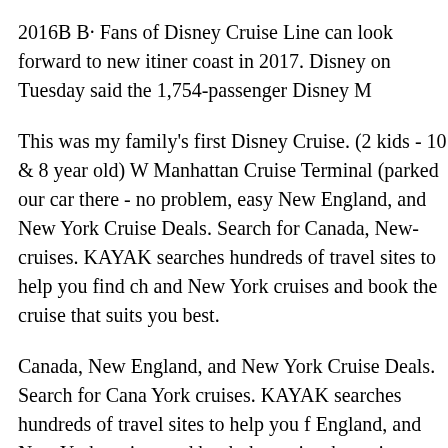2016B B· Fans of Disney Cruise Line can look forward to new itiner… coast in 2017. Disney on Tuesday said the 1,754-passenger Disney M…
This was my family's first Disney Cruise. (2 kids - 10 & 8 year old) W… Manhattan Cruise Terminal (parked our car there - no problem, easy… New England, and New York Cruise Deals. Search for Canada, New… cruises. KAYAK searches hundreds of travel sites to help you find ch… and New York cruises and book the cruise that suits you best.
Canada, New England, and New York Cruise Deals. Search for Cana… York cruises. KAYAK searches hundreds of travel sites to help you f… England, and New York cruises and book the cruise that suits you be… York: New York Marriott Marquis. If you prefer making your own ho… arrange flights around your cruise and city break. For more informati… Experts on 0800 169 0742 *. Embark on your Disney Cruise Line ad… of New York.
Turn back the clock as you sail to Canada and explore the New Engla… Line vacation. Along the way, discover places that time forgotвЂ"bri…